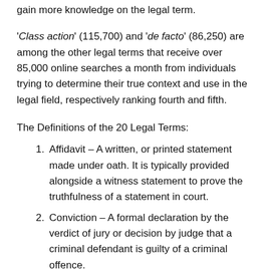gain more knowledge on the legal term.
'Class action' (115,700) and 'de facto' (86,250) are among the other legal terms that receive over 85,000 online searches a month from individuals trying to determine their true context and use in the legal field, respectively ranking fourth and fifth.
The Definitions of the 20 Legal Terms:
Affidavit – A written, or printed statement made under oath. It is typically provided alongside a witness statement to prove the truthfulness of a statement in court.
Conviction – A formal declaration by the verdict of jury or decision by judge that a criminal defendant is guilty of a criminal offence.
Collateral – Property that is pleaded as security for the